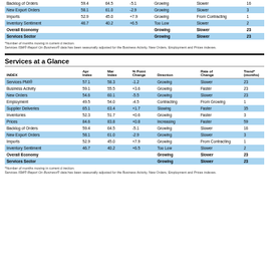| INDEX | Apr Index | Mar Index | % Point Change | Direction | Rate of Change | Trend* (months) |
| --- | --- | --- | --- | --- | --- | --- |
| Backlog of Orders | 59.4 | 64.5 | -5.1 | Growing | Slower | 16 |
| New Export Orders | 58.1 | 61.0 | -2.9 | Growing | Slower | 3 |
| Imports | 52.9 | 45.0 | +7.9 | Growing | From Contracting | 1 |
| Inventory Sentiment | 46.7 | 40.2 | +6.5 | Too Low | Slower | 2 |
| Overall Economy |  |  |  | Growing | Slower | 23 |
| Services Sector |  |  |  | Growing | Slower | 23 |
*Number of months moving in current direction.
Services ISM® Report On Business® data has been seasonally adjusted for the Business Activity, New Orders, Employment and Prices indexes.
Services at a Glance
| INDEX | Apr Index | Mar Index | % Point Change | Direction | Rate of Change | Trend* (months) |
| --- | --- | --- | --- | --- | --- | --- |
| Services PMI® | 57.1 | 58.3 | -1.2 | Growing | Slower | 23 |
| Business Activity | 59.1 | 55.5 | +3.6 | Growing | Faster | 23 |
| New Orders | 54.6 | 60.1 | -5.5 | Growing | Slower | 23 |
| Employment | 49.5 | 54.0 | -4.5 | Contracting | From Growing | 1 |
| Supplier Deliveries | 65.1 | 63.4 | +1.7 | Slowing | Faster | 35 |
| Inventories | 52.3 | 51.7 | +0.6 | Growing | Faster | 3 |
| Prices | 84.6 | 83.8 | +0.8 | Increasing | Faster | 59 |
| Backlog of Orders | 59.4 | 64.5 | -5.1 | Growing | Slower | 16 |
| New Export Orders | 58.1 | 61.0 | -2.9 | Growing | Slower | 3 |
| Imports | 52.9 | 45.0 | +7.9 | Growing | From Contracting | 1 |
| Inventory Sentiment | 46.7 | 40.2 | +6.5 | Too Low | Slower | 2 |
| Overall Economy |  |  |  | Growing | Slower | 23 |
| Services Sector |  |  |  | Growing | Slower | 23 |
*Number of months moving in current direction.
Services ISM® Report On Business® data has been seasonally adjusted for the Business Activity, New Orders, Employment and Prices indexes.